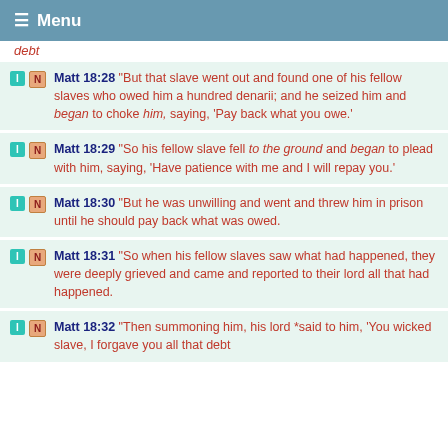≡ Menu
debt
Matt 18:28 "But that slave went out and found one of his fellow slaves who owed him a hundred denarii; and he seized him and began to choke him, saying, 'Pay back what you owe.'
Matt 18:29 "So his fellow slave fell to the ground and began to plead with him, saying, 'Have patience with me and I will repay you.'
Matt 18:30 "But he was unwilling and went and threw him in prison until he should pay back what was owed.
Matt 18:31 "So when his fellow slaves saw what had happened, they were deeply grieved and came and reported to their lord all that had happened.
Matt 18:32 "Then summoning him, his lord *said to him, 'You wicked slave, I forgave you all that debt